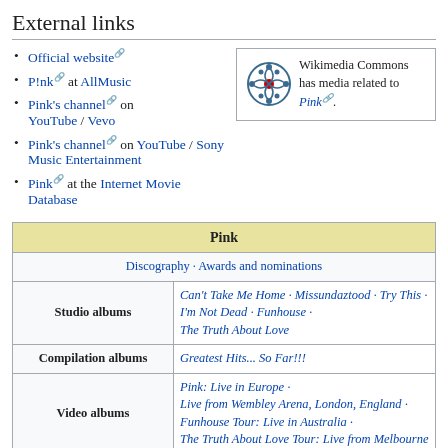External links
Official website
P!nk at AllMusic
Pink's channel on YouTube / Vevo
Pink's channel on YouTube / Sony Music Entertainment
Pink at the Internet Movie Database
| Pink |
| --- |
| Discography · Awards and nominations |
| Studio albums | Can't Take Me Home · Missundaztood · Try This · I'm Not Dead · Funhouse · The Truth About Love |
| Compilation albums | Greatest Hits... So Far!!! |
| Video albums | Pink: Live in Europe · Live from Wembley Arena, London, England · Funhouse Tour: Live in Australia · The Truth About Love Tour: Live from Melbourne |
| Concert tours | Party Tour · Try This Tour · I'm Not Dead Tour · Funhouse Tour · |